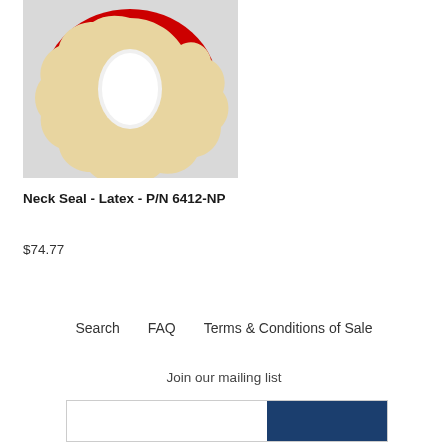[Figure (photo): Photo of a latex neck seal product with red outer border and cream/beige interior with a hole in the center, viewed from above on a light gray background.]
Neck Seal - Latex - P/N 6412-NP
$74.77
Search   FAQ   Terms & Conditions of Sale
Join our mailing list